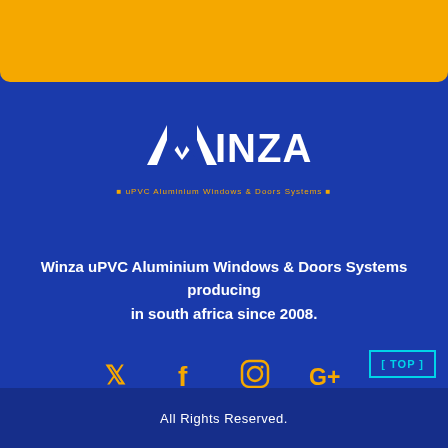[Figure (logo): WINZA logo with text 'uPVC Aluminium Windows & Doors Systems' on blue background with yellow top bar]
Winza uPVC Aluminium Windows & Doors Systems producing in south africa since 2008.
[Figure (infographic): Social media icons: Twitter, Facebook, Instagram, Google+ in gold/yellow color]
All Rights Reserved.